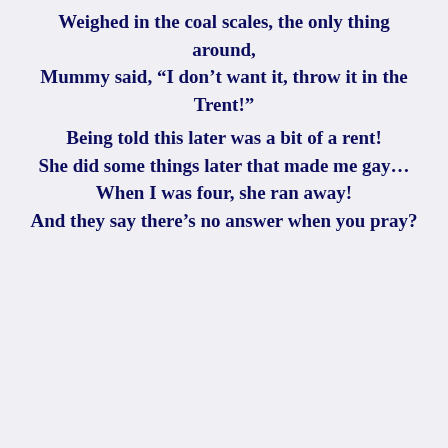Weighed in the coal scales, the only thing around,
Mummy said, “I don’t want it, throw it in the Trent!”
Being told this later was a bit of a rent!
She did some things later that made me gay…
When I was four, she ran away!
And they say there’s no answer when you pray?